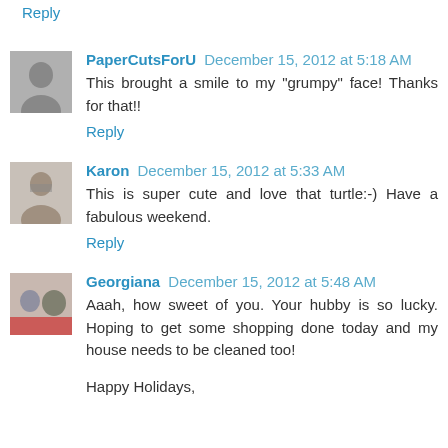Reply
PaperCutsForU December 15, 2012 at 5:18 AM
This brought a smile to my "grumpy" face! Thanks for that!!
Reply
Karon December 15, 2012 at 5:33 AM
This is super cute and love that turtle:-) Have a fabulous weekend.
Reply
Georgiana December 15, 2012 at 5:48 AM
Aaah, how sweet of you. Your hubby is so lucky. Hoping to get some shopping done today and my house needs to be cleaned too!
Happy Holidays,